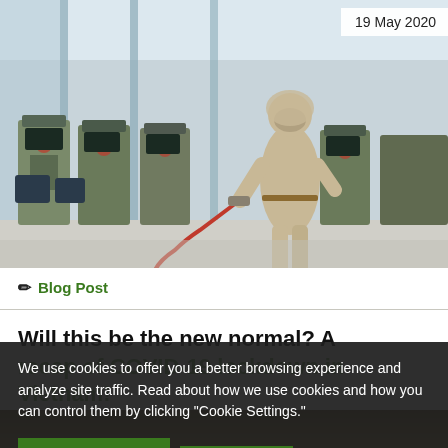[Figure (photo): Airport or transit hall scene with a person in full hazmat/protective suit spraying disinfectant near turnstile gates. Light interior, several kiosk-style machines visible.]
19 May 2020
Blog Post
Will this be the new normal? A
recap of COVID-19 lockdown in Vietnam!
We use cookies to offer you a better browsing experience and analyze site traffic. Read about how we use cookies and how you can control them by clicking "Cookie Settings."
✓ Accept Cookies
Close
❯ Cookie Settings